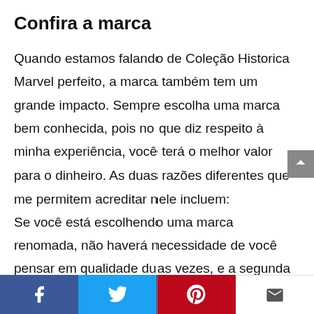Confira a marca
Quando estamos falando de Coleção Historica Marvel perfeito, a marca também tem um grande impacto. Sempre escolha uma marca bem conhecida, pois no que diz respeito à minha experiência, você terá o melhor valor para o dinheiro. As duas razões diferentes que me permitem acreditar nele incluem: Se você está escolhendo uma marca renomada, não haverá necessidade de você pensar em qualidade duas vezes, e a segunda é que eles vêm com melhor suporte ao cliente. Se houver algum problema, você pode simplesmente abordar o suporte ao cliente e obter as respostas.
Social share bar: Facebook, Twitter, Pinterest, Email